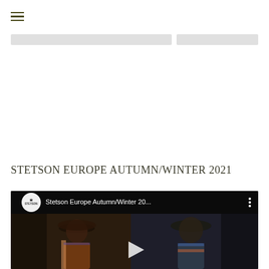Navigation menu icon
STETSON EUROPE AUTUMN/WINTER 2021
[Figure (screenshot): YouTube video thumbnail for 'Stetson Europe Autumn/Winter 20...' showing two people wearing hats in a dark outdoor setting, with a play button overlay and Stetson logo in the top-left corner]